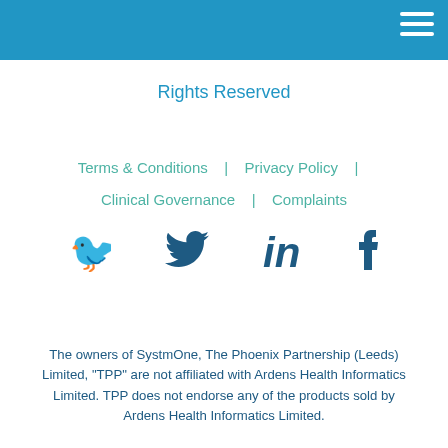Rights Reserved
Terms & Conditions | Privacy Policy | Clinical Governance | Complaints
[Figure (other): Social media icons: Twitter bird, LinkedIn 'in', Facebook 'f']
The owners of SystmOne, The Phoenix Partnership (Leeds) Limited, "TPP" are not affiliated with Ardens Health Informatics Limited. TPP does not endorse any of the products sold by Ardens Health Informatics Limited.